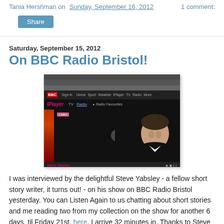Tania Hershman on Sunday, September 16, 2012   1 comment:
Share
Saturday, September 15, 2012
On BBC Radio Bristol!
[Figure (screenshot): Screenshot of BBC iPlayer webpage showing Steve Yabsley on a radio show, with the iPlayer interface visible including navigation bar, play button, and presenter name label]
I was interviewed by the delightful Steve Yabsley - a fellow short story writer, it turns out! - on his show on BBC Radio Bristol yesterday. You can Listen Again to us chatting about short stories and me reading two from my collection on the show for another 6 days, til Friday 21st, here. I arrive 32 minutes in. Thanks to Steve for having me!